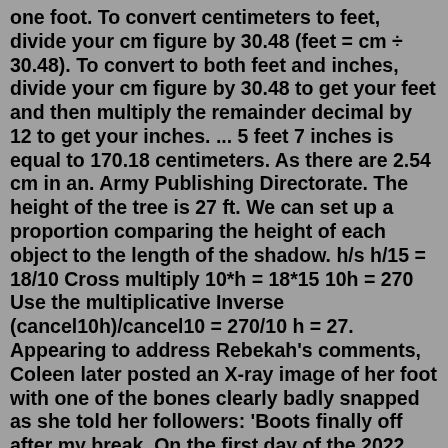one foot. To convert centimeters to feet, divide your cm figure by 30.48 (feet = cm ÷ 30.48). To convert to both feet and inches, divide your cm figure by 30.48 to get your feet and then multiply the remainder decimal by 12 to get your inches. ... 5 feet 7 inches is equal to 170.18 centimeters. As there are 2.54 cm in an. Army Publishing Directorate. The height of the tree is 27 ft. We can set up a proportion comparing the height of each object to the length of the shadow. h/s h/15 = 18/10 Cross multiply 10*h = 18*15 10h = 270 Use the multiplicative Inverse (cancel10h)/cancel10 = 270/10 h = 27. Appearing to address Rebekah's comments, Coleen later posted an X-ray image of her foot with one of the bones clearly badly snapped as she told her followers: 'Boots finally off after my break. On the first day of the 2022 Python Challenge >, News 6 spoke with a Rollins College student living in Winter Park who was able to wrangle up a nearly 18-foot-long Burmese python in Collier County. Dart 18 Nationals 2022 On 23 Nov 2021, In Dart 18 News , by